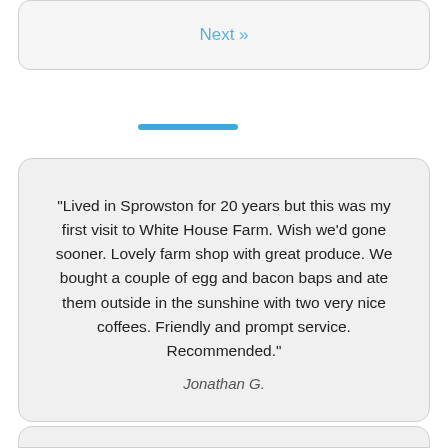Next »
“Lived in Sprowston for 20 years but this was my first visit to White House Farm. Wish we’d gone sooner. Lovely farm shop with great produce. We bought a couple of egg and bacon baps and ate them outside in the sunshine with two very nice coffees. Friendly and prompt service. Recommended.”
Jonathan G.